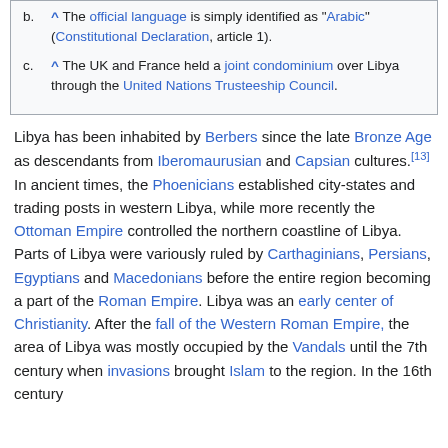b. ^ The official language is simply identified as "Arabic" (Constitutional Declaration, article 1).
c. ^ The UK and France held a joint condominium over Libya through the United Nations Trusteeship Council.
Libya has been inhabited by Berbers since the late Bronze Age as descendants from Iberomaurusian and Capsian cultures.[13] In ancient times, the Phoenicians established city-states and trading posts in western Libya, while more recently the Ottoman Empire controlled the northern coastline of Libya. Parts of Libya were variously ruled by Carthaginians, Persians, Egyptians and Macedonians before the entire region becoming a part of the Roman Empire. Libya was an early center of Christianity. After the fall of the Western Roman Empire, the area of Libya was mostly occupied by the Vandals until the 7th century when invasions brought Islam to the region. In the 16th century